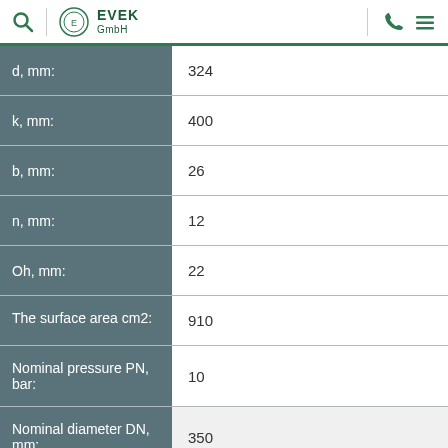EVEK GmbH
| Parameter | Value |
| --- | --- |
| d, mm: | 324 |
| k, mm: | 400 |
| b, mm: | 26 |
| n, mm: | 12 |
| Oh, mm: | 22 |
| The surface area cm2: | 910 |
| Nominal pressure PN, bar: | 10 |
| Nominal diameter DN, mm: | 350 |